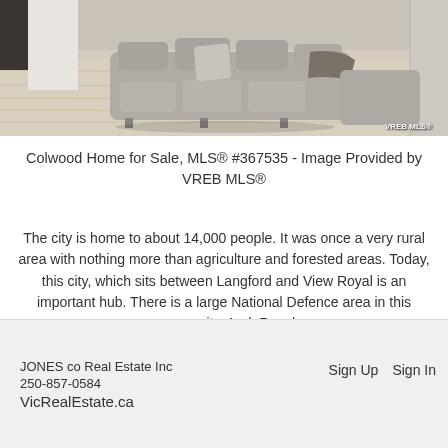[Figure (photo): Interior living room photo showing large grey sectional sofa with pillows on light hardwood floor, with VREB MLS® watermark in bottom right corner]
Colwood Home for Sale, MLS® #367535 - Image Provided by VREB MLS®
The city is home to about 14,000 people. It was once a very rural area with nothing more than agriculture and forested areas. Today, this city, which sits between Langford and View Royal is an important hub. There is a large National Defence area in this community. And, Royal
...
JONES co Real Estate Inc  250-857-0584  VicRealEstate.ca  Sign Up  Sign In